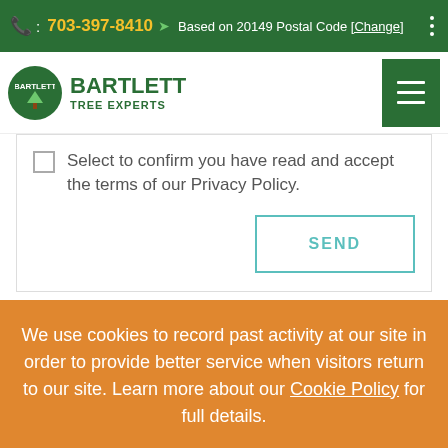: 703-397-8410  Based on 20149 Postal Code [Change]
[Figure (logo): Bartlett Tree Experts logo with green circle and tree graphic]
Select to confirm you have read and accept the terms of our Privacy Policy.
SEND
We use cookies to record past activity at our site in order to provide better service when visitors return to our site. Learn more about our Cookie Policy for full details.
I UNDERSTAND